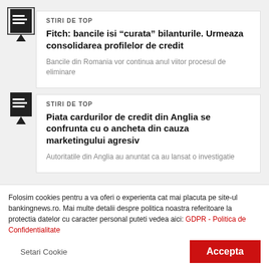[Figure (other): Document/article icon with black file symbol]
STIRI DE TOP
Fitch: bancile isi “curata” bilanturile. Urmeaza consolidarea profilelor de credit
Bancile din Romania vor continua anul viitor procesul de eliminare
[Figure (other): Document/article icon with black file symbol]
STIRI DE TOP
Piata cardurilor de credit din Anglia se confrunta cu o ancheta din cauza marketingului agresiv
Autoritatile din Anglia au anuntat ca au lansat o investigatie
Folosim cookies pentru a va oferi o experienta cat mai placuta pe site-ul bankingnews.ro. Mai multe detalii despre politica noastra referitoare la protectia datelor cu caracter personal puteti vedea aici: GDPR - Politica de Confidentialitate
Setari Cookie
Accepta